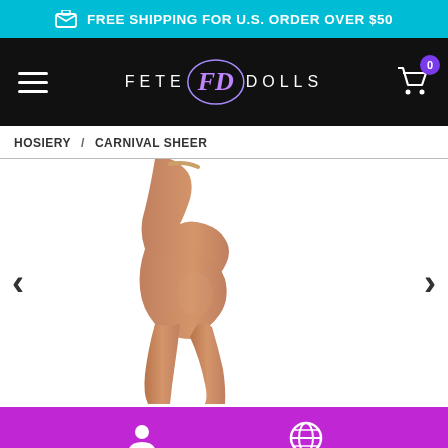FREE SHIPPING FOR U.S. ORDER OVER $50
[Figure (screenshot): Fete Dolls e-commerce website screenshot showing navigation bar with hamburger menu, logo, and cart icon with badge '0']
HOSIERY / CARNIVAL SHEER
[Figure (photo): Product photo of a person wearing sheer hosiery pantyhose, showing from waist down, side/back view, skin tone product]
Bottom navigation bar with account and globe icons